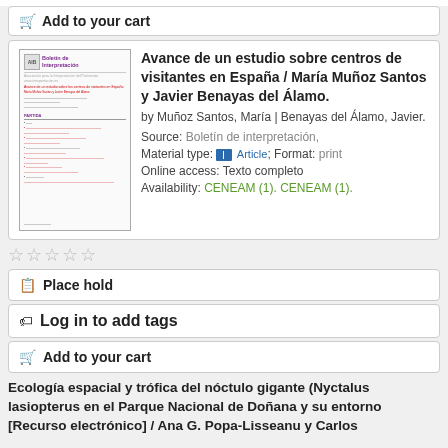Add to your cart
[Figure (illustration): Thumbnail of journal article page from Boletín de Interpretación]
Avance de un estudio sobre centros de visitantes en España / María Muñoz Santos y Javier Benayas del Álamo.
by Muñoz Santos, María | Benayas del Álamo, Javier.
Source: Boletín de interpretación,
Material type: Article; Format: print
Online access: Texto completo
Availability: CENEAM (1). CENEAM (1).
Place hold
Log in to add tags
Add to your cart
Ecología espacial y trófica del nóctulo gigante (Nyctalus lasiopterus en el Parque Nacional de Doñana y su entorno [Recurso electrónico] / Ana G. Popa-Lisseanu y Carlos